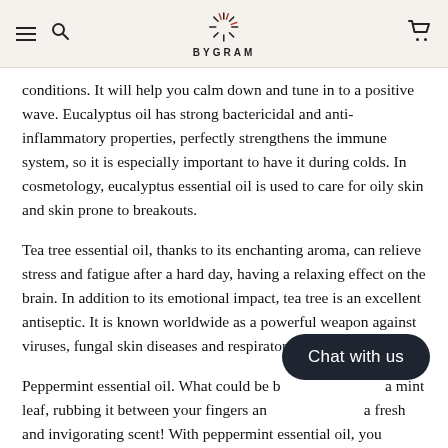BYGRAM
conditions. It will help you calm down and tune in to a positive wave. Eucalyptus oil has strong bactericidal and anti-inflammatory properties, perfectly strengthens the immune system, so it is especially important to have it during colds. In cosmetology, eucalyptus essential oil is used to care for oily skin and skin prone to breakouts.
Tea tree essential oil, thanks to its enchanting aroma, can relieve stress and fatigue after a hard day, having a relaxing effect on the brain. In addition to its emotional impact, tea tree is an excellent antiseptic. It is known worldwide as a powerful weapon against viruses, fungal skin diseases and respiratory diseases.
Peppermint essential oil. What could be better than taking a mint leaf, rubbing it between your fingers and then inhaling a fresh and invigorating scent! With peppermint essential oil, you
[Figure (other): Chat with us button overlay]